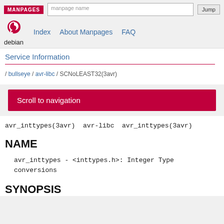MANPAGES | manpage name | Jump | Index | About Manpages | FAQ
Service Information
/ bullseye / avr-libc / SCNoLEAST32(3avr)
Scroll to navigation
avr_inttypes(3avr)  avr-libc  avr_inttypes(3avr)
NAME
avr_inttypes - <inttypes.h>: Integer Type conversions
SYNOPSIS